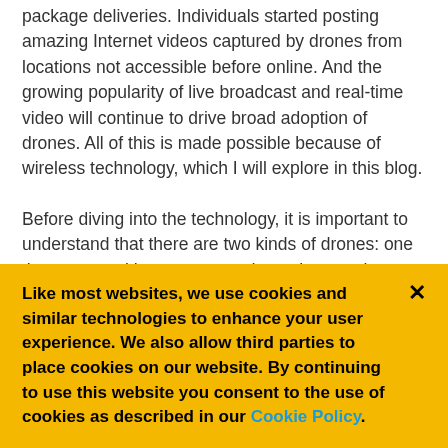package deliveries. Individuals started posting amazing Internet videos captured by drones from locations not accessible before online. And the growing popularity of live broadcast and real-time video will continue to drive broad adoption of drones. All of this is made possible because of wireless technology, which I will explore in this blog.

Before diving into the technology, it is important to understand that there are two kinds of drones: one that comes with a camera and one that requires separate mounting of a gimbal and camera. The former option is generally less costly and targeted towards consumers and
Like most websites, we use cookies and similar technologies to enhance your user experience. We also allow third parties to place cookies on our website. By continuing to use this website you consent to the use of cookies as described in our Cookie Policy.